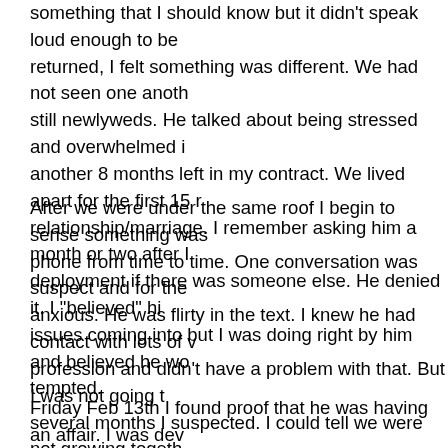something that I should know but it didn't speak loud enough to be returned, I felt something was different. We had not seen one anoth still newlyweds. He talked about being stressed and overwhelmed i another 8 months left in my contract. We lived apart for the first 15 relationship/marriage. I remember asking him a month or two after deployment if there was someone else. He denied it. I "believed" hi issues coming into but I was doing right by him and believed he wo tempted.
After we were under the same roof I begin to sense something was phone from time to time. One conversation was suspect and for the anxious. He was flirty in the text. I knew he had contact with lots of profession and didn't have a problem with that. But I was not going several months I suspected. I could tell we were not growing togeth here but there was no connection to God. While we wanted God to relationship, it was obvious we were going on our own strength.
Friday Feb 13th I found proof that he was having an affair. I was de involved with two women (both emotional/one physical) for 18 mont left for deployment. I first thought I am going to file for an annulmen